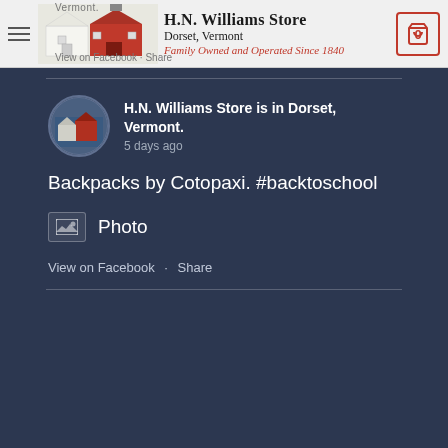H.N. Williams Store | Dorset, Vermont | Family Owned and Operated Since 1840
H.N. Williams Store is in Dorset, Vermont.
5 days ago
Backpacks by Cotopaxi. #backtoschool
Photo
View on Facebook · Share